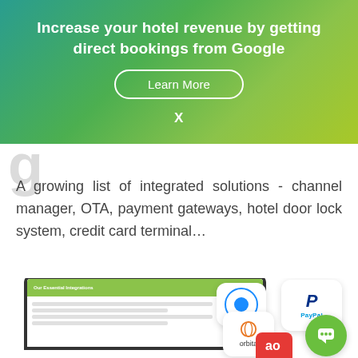Increase your hotel revenue by getting direct bookings from Google
Learn More
X
g
A growing list of integrated solutions - channel manager, OTA, payment gateways, hotel door lock system, credit card terminal…
[Figure (screenshot): Laptop showing a hotel integrations page with 'Our Essential Integrations' heading on green background, alongside integration partner logos including PayPal, Orbita, and a blue icon badge. A green chat button is visible in the bottom right.]